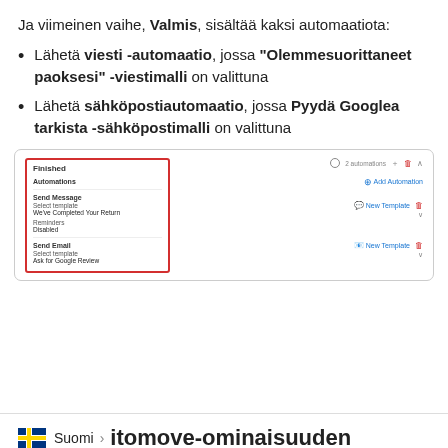Ja viimeinen vaihe, Valmis, sisältää kaksi automaatiota:
Lähetä viesti -automaatio, jossa "Olemmesuorittaneet paoksesi" -viestimalli on valittuna
Lähetä sähköpostiautomaatio, jossa Pyydä Googlea tarkista -sähköpostimalli on valittuna
[Figure (screenshot): Screenshot of a 'Finished' stage configuration panel showing 2 automations: Send Message with 'We've Completed Your Return' template and Send Email with 'Ask for Google Review' template, with a red border highlighting the left panel.]
[Figure (infographic): Navigation bar showing Finnish flag icon, 'Suomi' text, arrow, and partial text 'itomove-ominaisuuden']